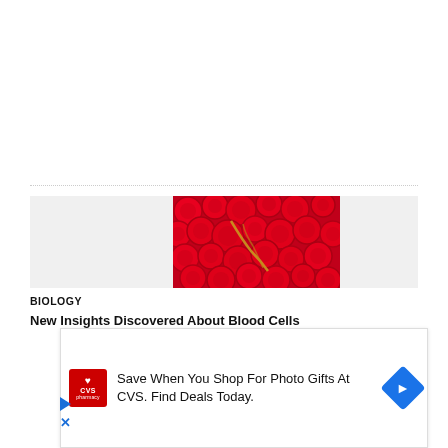[Figure (photo): Close-up photograph of red blood cells (erythrocytes) tightly packed together, showing their characteristic biconcave disc shape in vivid red color, with a small yellowish vessel or fiber visible among them.]
BIOLOGY
Save When You Shop For Photo Gifts At CVS. Find Deals Today.